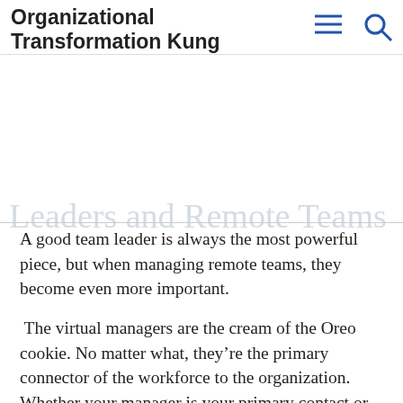Organizational Transformation Kung Fu
A good team leader is always the most powerful piece, but when managing remote teams, they become even more important.
The virtual managers are the cream of the Oreo cookie. No matter what, they’re the primary connector of the workforce to the organization. Whether your manager is your primary contact or not, when you move to a virtual work environment, especially suddenly, that manager is your major connection with the organization, your major purpose giver, and your major contact.